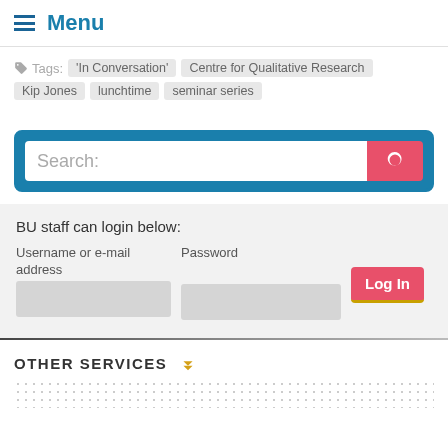Menu
Tags: 'In Conversation'  Centre for Qualitative Research  Kip Jones  lunchtime  seminar series
[Figure (screenshot): Search box with pink search button and magnifying glass icon, surrounded by blue border]
BU staff can login below: Username or e-mail address  Password  Log In
OTHER SERVICES